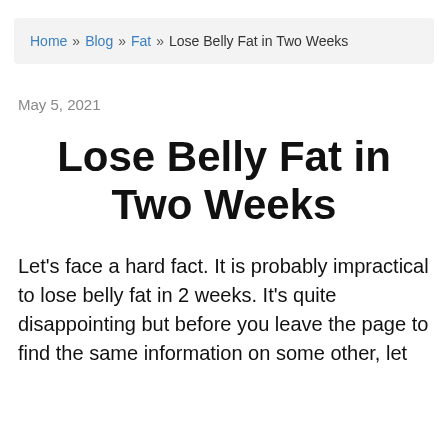Home » Blog » Fat » Lose Belly Fat in Two Weeks
May 5, 2021
Lose Belly Fat in Two Weeks
Let's face a hard fact. It is probably impractical to lose belly fat in 2 weeks. It's quite disappointing but before you leave the page to find the same information on some other, let